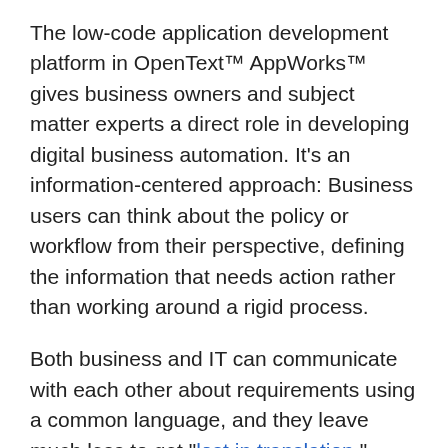The low-code application development platform in OpenText™ AppWorks™ gives business owners and subject matter experts a direct role in developing digital business automation. It's an information-centered approach: Business users can think about the policy or workflow from their perspective, defining the information that needs action rather than working around a rigid process.
Both business and IT can communicate with each other about requirements using a common language, and they leave much less to get "lost in translation."
AppWorks improves application development in three ways:
It brings application development closer to the subject matter expert. By enabling the subject